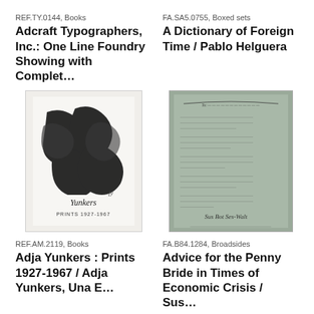REF.TY.0144, Books
Adcraft Typographers, Inc.: One Line Foundry Showing with Complet…
FA.SA5.0755, Boxed sets
A Dictionary of Foreign Time / Pablo Helguera
[Figure (photo): Book cover of Adja Yunkers: Prints 1927-1967, showing abstract black brushstroke art on white background with handwritten author name 'Yunkers' and text 'PRINTS 1927-1967']
[Figure (photo): Broadside document on grey/green paper with handwritten text (poem or letter) and signature at bottom]
REF.AM.2119, Books
Adja Yunkers : Prints 1927-1967 / Adja Yunkers, Una E…
FA.B84.1284, Broadsides
Advice for the Penny Bride in Times of Economic Crisis / Sus…